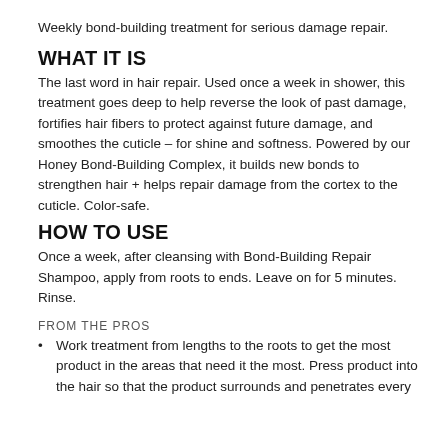Weekly bond-building treatment for serious damage repair.
WHAT IT IS
The last word in hair repair. Used once a week in shower, this treatment goes deep to help reverse the look of past damage, fortifies hair fibers to protect against future damage, and smoothes the cuticle – for shine and softness. Powered by our Honey Bond-Building Complex, it builds new bonds to strengthen hair + helps repair damage from the cortex to the cuticle. Color-safe.
HOW TO USE
Once a week, after cleansing with Bond-Building Repair Shampoo, apply from roots to ends. Leave on for 5 minutes. Rinse.
FROM THE PROS
Work treatment from lengths to the roots to get the most product in the areas that need it the most. Press product into the hair so that the product surrounds and penetrates every